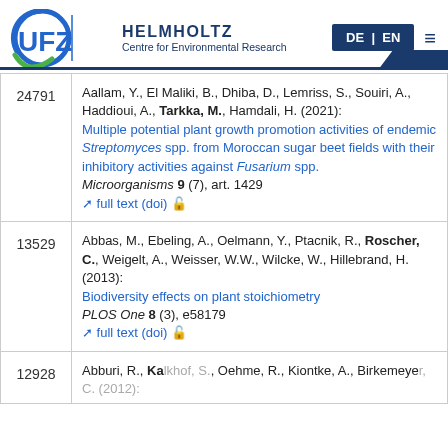[Figure (logo): UFZ Helmholtz Centre for Environmental Research logo with DE|EN language selector and hamburger menu]
| ID | Reference |
| --- | --- |
| 24791 | Aallam, Y., El Maliki, B., Dhiba, D., Lemriss, S., Souiri, A., Haddioui, A., Tarkka, M., Hamdali, H. (2021): Multiple potential plant growth promotion activities of endemic Streptomyces spp. from Moroccan sugar beet fields with their inhibitory activities against Fusarium spp. Microorganisms 9 (7), art. 1429 full text (doi) [open access] |
| 13529 | Abbas, M., Ebeling, A., Oelmann, Y., Ptacnik, R., Roscher, C., Weigelt, A., Weisser, W.W., Wilcke, W., Hillebrand, H. (2013): Biodiversity effects on plant stoichiometry PLOS One 8 (3), e58179 full text (doi) [open access] |
| 12928 | Abburi, R., Kalkhof, S., Oehme, R., Kiontke, A., Birkemeyer, C. (2012): |